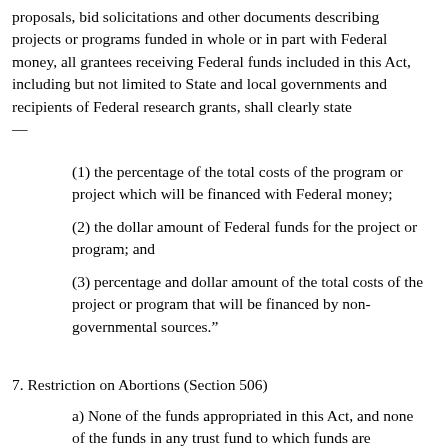proposals, bid solicitations and other documents describing projects or programs funded in whole or in part with Federal money, all grantees receiving Federal funds included in this Act, including but not limited to State and local governments and recipients of Federal research grants, shall clearly state —
(1) the percentage of the total costs of the program or project which will be financed with Federal money;
(2) the dollar amount of Federal funds for the project or program; and
(3) percentage and dollar amount of the total costs of the project or program that will be financed by non-governmental sources."
7. Restriction on Abortions (Section 506)
a) None of the funds appropriated in this Act, and none of the funds in any trust fund to which funds are appropriated in this Act, shall be expended for any abortion.